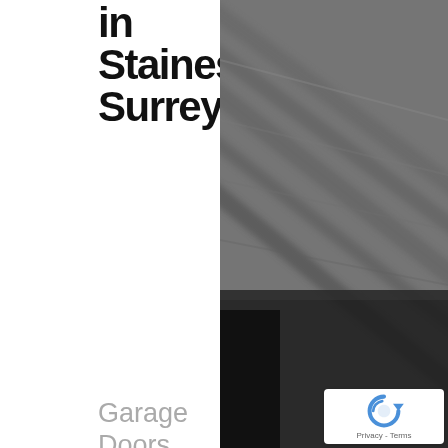Services in Staines, Surrey
[Figure (photo): Blurred dark grey photograph of a garage door and surrounding structure, taken at an angle]
Garage Doors services are just one facet of our business. We
[Figure (logo): reCAPTCHA badge with spinning arrow icon and Privacy - Terms text]